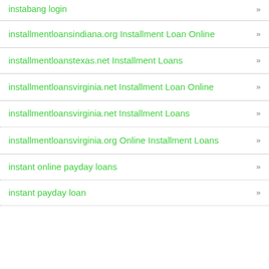instabang login »
installmentloansindiana.org Installment Loan Online »
installmentloanstexas.net Installment Loans »
installmentloansvirginia.net Installment Loan Online »
installmentloansvirginia.net Installment Loans »
installmentloansvirginia.org Online Installment Loans »
instant online payday loans »
instant payday loan »